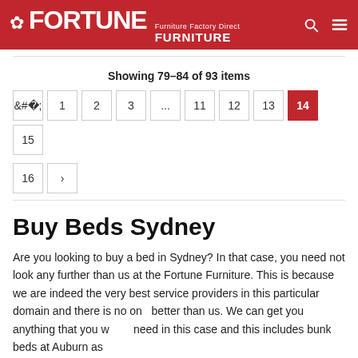FORTUNE Furniture Factory Direct FURNITURE
Showing 79-84 of 93 items
Pagination: < 1 2 3 ... 11 12 13 14 15 16 >
Buy Beds Sydney
Are you looking to buy a bed in Sydney? In that case, you need not look any further than us at the Fortune Furniture. This is because we are indeed the very best service providers in this particular domain and there is no one better than us. We can get you anything that you would need in this case and this includes bunk beds at Auburn as